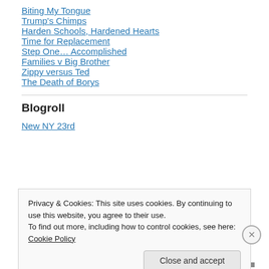Biting My Tongue
Trump's Chimps
Harden Schools, Hardened Hearts
Time for Replacement
Step One… Accomplished
Families v Big Brother
Zippy versus Ted
The Death of Borys
Blogroll
New NY 23rd
Privacy & Cookies: This site uses cookies. By continuing to use this website, you agree to their use.
To find out more, including how to control cookies, see here: Cookie Policy
Close and accept